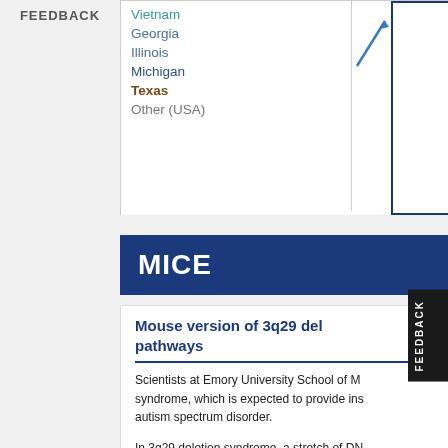FEEDBACK
Vietnam
Georgia
Illinois
Michigan
Texas
Other (USA)
MICE
Mouse version of 3q29 del pathways
Scientists at Emory University School of Medicine created a mouse model of 3q29 deletion syndrome, which is expected to provide insights into the biological pathways involved in autism spectrum disorder.
In 3q29 deletion syndrome, a stretch of DNA is missing from one of the two copies of chromosome 3. The deletion usually occurs de novo. People with 3q29 deletion syndrome have a higher risk of developing intellectual disability and autism spectrum disorder.